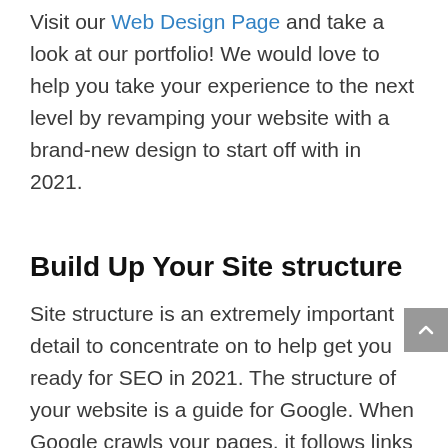Visit our Web Design Page and take a look at our portfolio! We would love to help you take your experience to the next level by revamping your website with a brand-new design to start off with in 2021.
Build Up Your Site structure
Site structure is an extremely important detail to concentrate on to help get you ready for SEO in 2021. The structure of your website is a guide for Google. When Google crawls your pages, it follows links to determine the relationship between pages. So, if you're structure is tangled up, it is